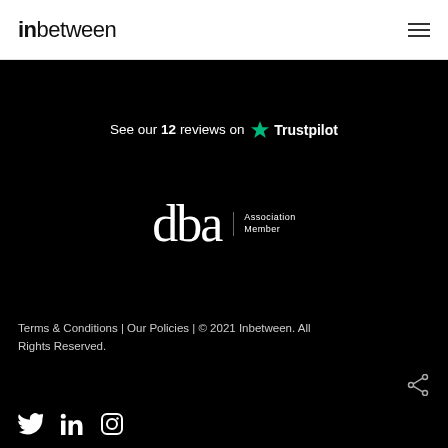inbetween
See our 12 reviews on Trustpilot
[Figure (logo): dba Association Member logo in white on black background]
Terms & Conditions | Our Policies | © 2021 Inbetween. All Rights Reserved.
[Figure (other): Social media icons: Twitter, LinkedIn, Instagram on black background]